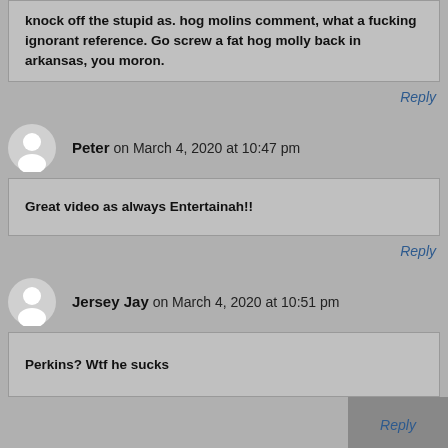knock off the stupid as. hog molins comment, what a fucking ignorant reference. Go screw a fat hog molly back in arkansas, you moron.
Reply
Peter on March 4, 2020 at 10:47 pm
Great video as always Entertainah!!
Reply
Jersey Jay on March 4, 2020 at 10:51 pm
Perkins? Wtf he sucks
Reply